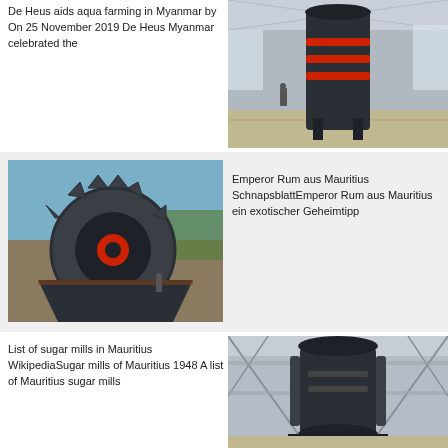De Heus aids aqua farming in Myanmar by On 25 November 2019 De Heus Myanmar celebrated the
[Figure (photo): Industrial machine or mill equipment inside a factory/warehouse, viewed from below, dark metallic structure with red accents]
[Figure (photo): Large industrial gear or wheel-shaped metal equipment outdoors, with red circular elements visible]
Emperor Rum aus Mauritius SchnapsblattEmperor Rum aus Mauritius ein exotischer Geheimtipp
List of sugar mills in Mauritius WikipediaSugar mills of Mauritius 1948 A list of Mauritius sugar mills
[Figure (photo): Industrial mill or factory equipment inside a large hall with scaffolding and structural supports visible]